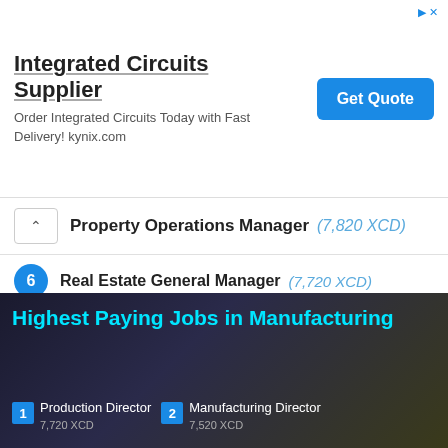[Figure (other): Advertisement banner for Integrated Circuits Supplier (kynix.com) with Get Quote button]
Property Operations Manager (7,820 XCD)
6 Real Estate General Manager (7,720 XCD)
7 Commercial Leasing Manager (7,620 XCD)
8 Community Development Manager (7,050 XCD)
9 Real Estate Project Manager (6,710 XCD)
10 Property Manager (5,590 XCD)
[Figure (other): Advertisement banner for Highest Paying Jobs in Manufacturing showing Production Director 7,720 XCD and Manufacturing Director 7,520 XCD]